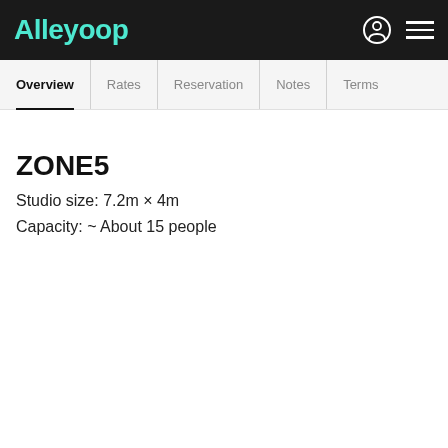Alleyoop
Overview | Rates | Reservation | Notes | Terms
ZONE5
Studio size: 7.2m × 4m
Capacity: ~ About 15 people